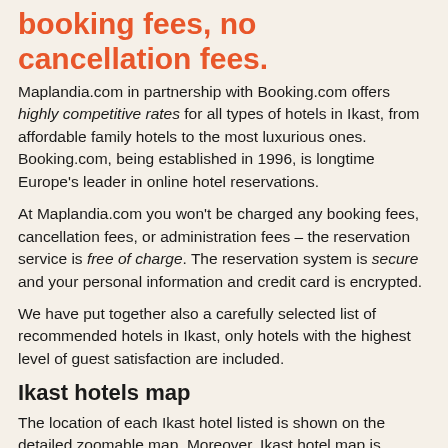booking fees, no cancellation fees.
Maplandia.com in partnership with Booking.com offers highly competitive rates for all types of hotels in Ikast, from affordable family hotels to the most luxurious ones. Booking.com, being established in 1996, is longtime Europe's leader in online hotel reservations.
At Maplandia.com you won't be charged any booking fees, cancellation fees, or administration fees – the reservation service is free of charge. The reservation system is secure and your personal information and credit card is encrypted.
We have put together also a carefully selected list of recommended hotels in Ikast, only hotels with the highest level of guest satisfaction are included.
Ikast hotels map
The location of each Ikast hotel listed is shown on the detailed zoomable map. Moreover, Ikast hotel map is available where all hotels in Ikast are marked. You can